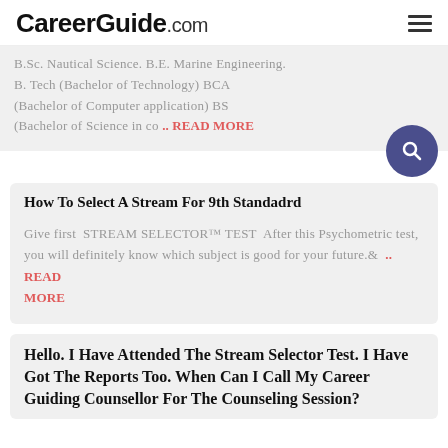CareerGuide.com
B.Sc. Nautical Science. B.E. Marine Engineering. B. Tech (Bachelor of Technology) BCA (Bachelor of Computer application) BS (Bachelor of Science in co .. READ MORE
How To Select A Stream For 9th Standadrd
Give first  STREAM SELECTOR™ TEST  After this Psychometric test, you will definitely know which subject is good for your future.& .. READ MORE
Hello. I Have Attended The Stream Selector Test. I Have Got The Reports Too. When Can I Call My Career Guiding Counsellor For The Counseling Session?